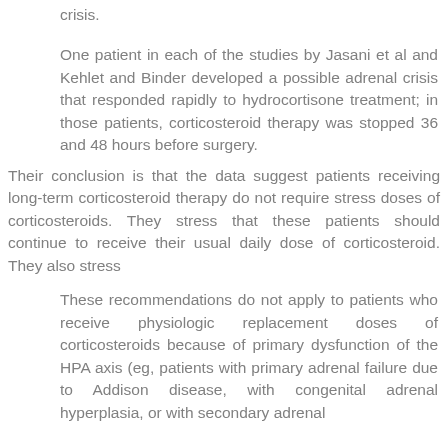crisis.
One patient in each of the studies by Jasani et al and Kehlet and Binder developed a possible adrenal crisis that responded rapidly to hydrocortisone treatment; in those patients, corticosteroid therapy was stopped 36 and 48 hours before surgery.
Their conclusion is that the data suggest patients receiving long-term corticosteroid therapy do not require stress doses of corticosteroids. They stress that these patients should continue to receive their usual daily dose of corticosteroid. They also stress
These recommendations do not apply to patients who receive physiologic replacement doses of corticosteroids because of primary dysfunction of the HPA axis (eg, patients with primary adrenal failure due to Addison disease, with congenital adrenal hyperplasia, or with secondary adrenal